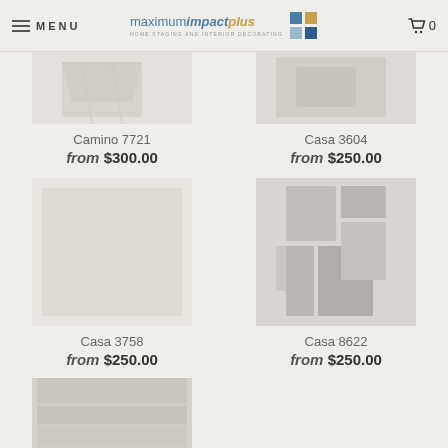MENU | maximumimpactplus HOME STAGING AND INTERIOR DECORATING | Cart 0
[Figure (photo): Cropped product photo for Camino 7721 rug]
Camino 7721
from $300.00
[Figure (photo): Cropped product photo for Casa 3604 rug]
Casa 3604
from $250.00
[Figure (photo): Product photo for Casa 3758 rug – blank/light]
Casa 3758
from $250.00
[Figure (photo): Product photo for Casa 8622 rug – grey abstract pattern]
Casa 8622
from $250.00
[Figure (photo): Partial/blurred product photo at bottom of page]